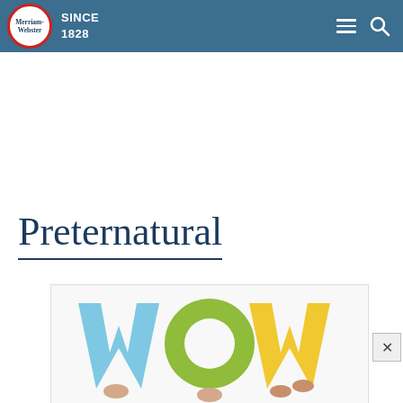Merriam-Webster SINCE 1828
Preternatural
[Figure (photo): Hands holding up large colorful letters spelling WOW — a blue W on the left, a green O in the middle, and yellow W letters on the right, against a white background.]